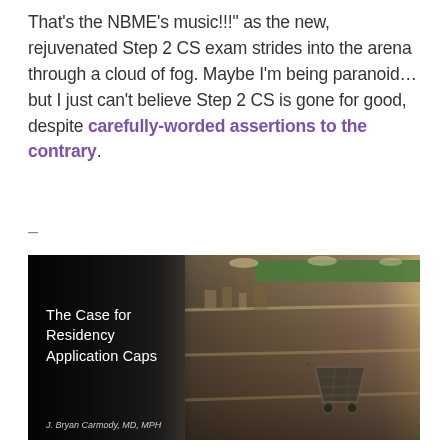That's the NBME's music!!!" as the new, rejuvenated Step 2 CS exam strides into the arena through a cloud of fog. Maybe I'm being paranoid... but I just can't believe Step 2 CS is gone for good, despite carefully-worded assertions to the contrary.
–
[Figure (photo): Dark image of an empty grocery store with bare shelves and a shopping cart, overlaid with white text reading 'The Case for Residency Application Caps' and author credit 'J. Bryan Carmody, MD, MPH']